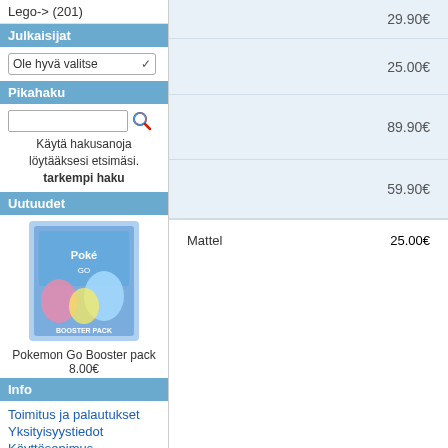Lego-> (201)
Julkaisijat
Ole hyvä valitse
Pikahaku
Käytä hakusanoja löytääksesi etsimäsi. tarkempi haku
Uutuudet
[Figure (photo): Pokemon Go Booster pack product image]
Pokemon Go Booster pack
8.00€
Info
Toimitus ja palautukset
Yksityisyystiedot
Käyttösopimus
ota yhteyttä
29.90€
25.00€
89.90€
59.90€
Mattel   25.00€